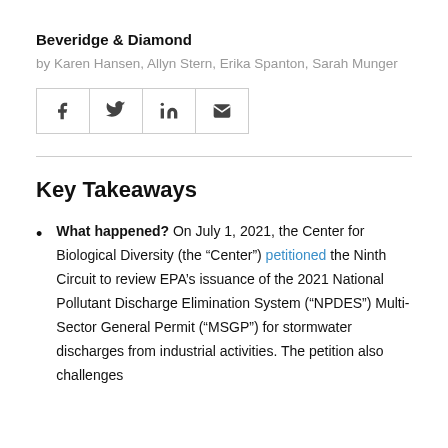Beveridge & Diamond
by Karen Hansen, Allyn Stern, Erika Spanton, Sarah Munger
[Figure (other): Social media sharing icons row: Facebook (f), Twitter (bird/y), LinkedIn (in), Email (envelope)]
Key Takeaways
What happened? On July 1, 2021, the Center for Biological Diversity (the “Center”) petitioned the Ninth Circuit to review EPA’s issuance of the 2021 National Pollutant Discharge Elimination System (“NPDES”) Multi-Sector General Permit (“MSGP”) for stormwater discharges from industrial activities. The petition also challenges